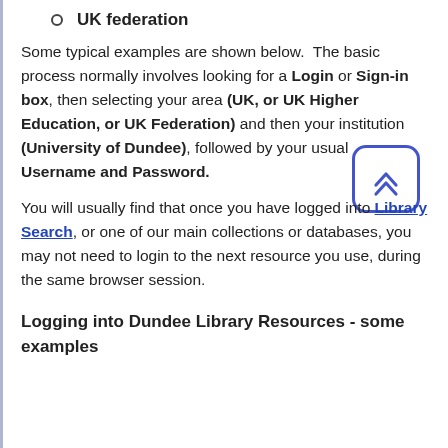UK federation
Some typical examples are shown below.  The basic process normally involves looking for a Login or Sign-in box, then selecting your area (UK, or UK Higher Education, or UK Federation) and then your institution (University of Dundee), followed by your usual Username and Password.
You will usually find that once you have logged into Library Search, or one of our main collections or databases, you may not need to login to the next resource you use, during the same browser session.
Logging into Dundee Library Resources - some examples